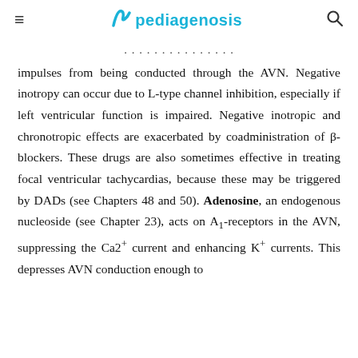pediagenosis
impulses from being conducted through the AVN. Negative inotropy can occur due to L-type channel inhibition, especially if left ventricular function is impaired. Negative inotropic and chronotropic effects are exacerbated by coadministration of β-blockers. These drugs are also sometimes effective in treating focal ventricular tachycardias, because these may be triggered by DADs (see Chapters 48 and 50). Adenosine, an endogenous nucleoside (see Chapter 23), acts on A1-receptors in the AVN, suppressing the Ca2+ current and enhancing K+ currents. This depresses AVN conduction enough to